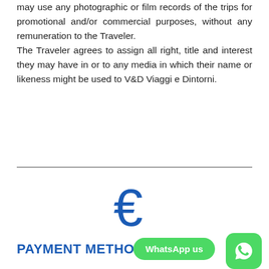may use any photographic or film records of the trips for promotional and/or commercial purposes, without any remuneration to the Traveler.
The Traveler agrees to assign all right, title and interest they may have in or to any media in which their name or likeness might be used to V&D Viaggi e Dintorni.
[Figure (other): Euro currency symbol in blue]
PAYMENT METHODS